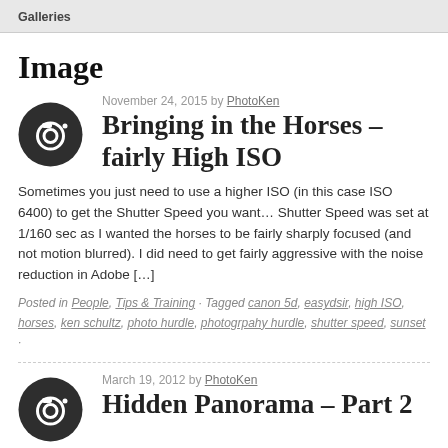Galleries
Image
[Figure (illustration): Dark circular camera icon with white camera symbol]
November 24, 2015 by PhotoKen
Bringing in the Horses – fairly High ISO
Sometimes you just need to use a higher ISO (in this case ISO 6400) to get the Shutter Speed you want… Shutter Speed was set at 1/160 sec as I wanted the horses to be fairly sharply focused (and not motion blurred). I did need to get fairly aggressive with the noise reduction in Adobe […]
Posted in People, Tips & Training · Tagged canon 5d, easydsir, high ISO, horses, ken schultz, photo hurdle, photogrpahy hurdle, shutter speed, sunset ·
[Figure (illustration): Dark circular camera icon with white camera symbol]
March 19, 2012 by PhotoKen
Hidden Panorama – Part 2